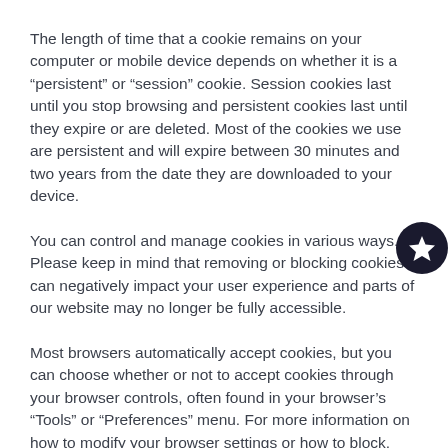The length of time that a cookie remains on your computer or mobile device depends on whether it is a “persistent” or “session” cookie. Session cookies last until you stop browsing and persistent cookies last until they expire or are deleted. Most of the cookies we use are persistent and will expire between 30 minutes and two years from the date they are downloaded to your device.
You can control and manage cookies in various ways. Please keep in mind that removing or blocking cookies can negatively impact your user experience and parts of our website may no longer be fully accessible.
Most browsers automatically accept cookies, but you can choose whether or not to accept cookies through your browser controls, often found in your browser’s “Tools” or “Preferences” menu. For more information on how to modify your browser settings or how to block, manage or